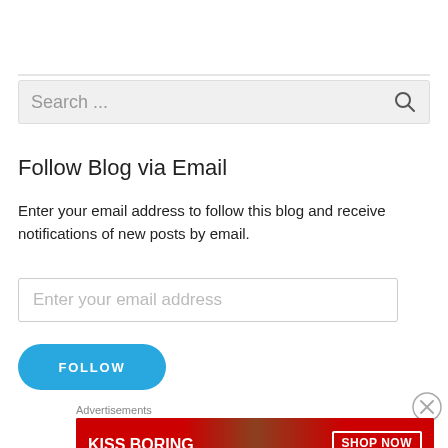[Figure (screenshot): Horizontal divider line separating page sections]
[Figure (screenshot): Search bar with placeholder text 'Search ...' and magnifying glass icon on the right, gray background]
Follow Blog via Email
Enter your email address to follow this blog and receive notifications of new posts by email.
[Figure (screenshot): Email address input field with placeholder 'Enter your email address']
[Figure (screenshot): Blue pill-shaped FOLLOW button]
Advertisements
[Figure (illustration): Macy's advertisement banner: red background with woman's face, text 'KISS BORING LIPS GOODBYE', 'SHOP NOW' box, and Macy's star logo]